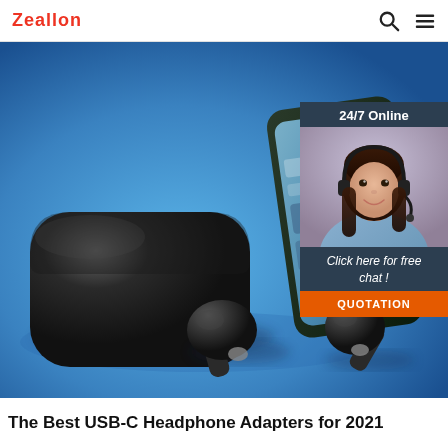Zeallon
[Figure (photo): Hero image showing wireless earbuds case open with two earbuds placed on a blue surface next to a smartphone. An overlay chat widget shows '24/7 Online', a female customer service agent with headset, 'Click here for free chat!', and an orange QUOTATION button.]
The Best USB-C Headphone Adapters for 2021